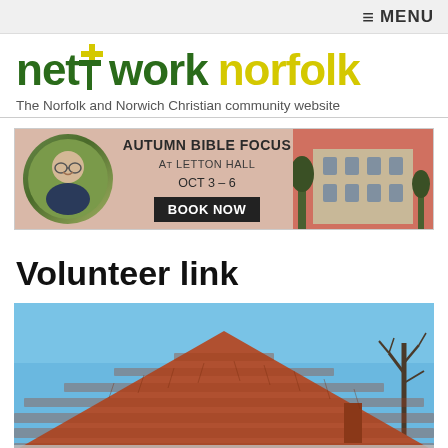≡ MENU
[Figure (logo): Network Norfolk logo — 'network' in dark green bold with a yellow cross over the 't', 'norfolk' in yellow bold. Tagline: The Norfolk and Norwich Christian community website.]
[Figure (infographic): Banner advertisement for Autumn Bible Focus at Letton Hall, Oct 3-6. Shows a circular photo of a man, text overlay, BOOK NOW button, and a photo of a stone hall building.]
Volunteer link
[Figure (photo): A photograph of a house with a red/terracotta tiled pitched roof against a blue sky, with a bare tree visible on the right. The image is cropped showing mostly the roof and upper portion of the building.]